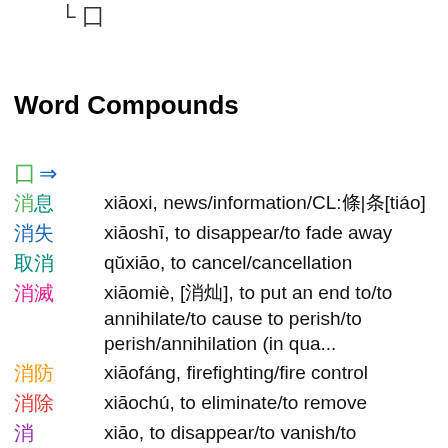└ 囗
Word Compounds
囗 ⇒
消息  xiāoxi, news/information/CL:條|条[tiáo]
消失  xiāoshī, to disappear/to fade away
取消  qǔxiāo, to cancel/cancellation
消滅  xiāomiè, [消灭], to put an end to/to annihilate/to cause to perish/to perish/annihilation (in qua...
消防  xiāofáng, firefighting/fire control
消除  xiāochú, to eliminate/to remove
消  xiāo, to disappear/to vanish/to eliminate/to spend (time)/have to/need
消化  xiāohuà, to digest/digestion/digestive